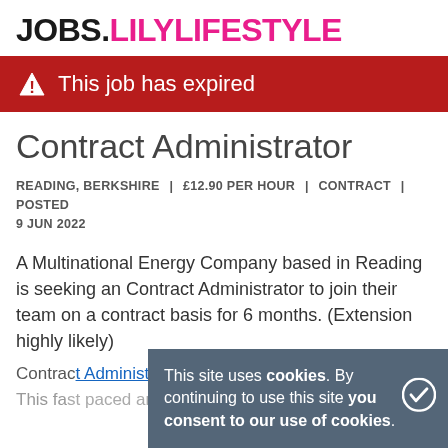JOBS.LILYLIFESTYLE
⚠ This job has expired
Contract Administrator
READING, BERKSHIRE | £12.90 PER HOUR | CONTRACT | POSTED 9 JUN 2022
A Multinational Energy Company based in Reading is seeking an Contract Administrator to join their team on a contract basis for 6 months. (Extension highly likely)
Contract Administrator
This fast paced and rewarding role will involve
This site uses cookies. By continuing to use this site you consent to our use of cookies.